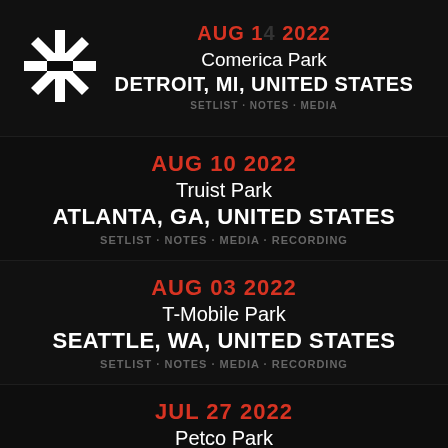[Figure (logo): Red Hot Chili Peppers asterisk/snowflake logo in white]
Comerica Park
DETROIT, MI, UNITED STATES
SETLIST · NOTES · MEDIA
AUG 10 2022
Truist Park
ATLANTA, GA, UNITED STATES
SETLIST · NOTES · MEDIA · RECORDING
AUG 03 2022
T-Mobile Park
SEATTLE, WA, UNITED STATES
SETLIST · NOTES · MEDIA · RECORDING
JUL 27 2022
Petco Park
SAN DIEGO, CA, UNITED STATES